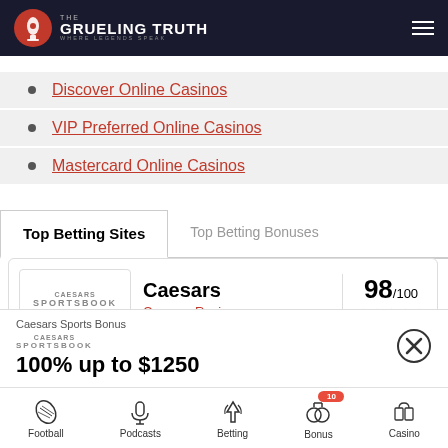The Grueling Truth — Where Legends Speak
Discover Online Casinos
VIP Preferred Online Casinos
Mastercard Online Casinos
Top Betting Sites
Top Betting Bonuses
Caesars | Caesars Review | 98/100 ★★★★★
BetRivers.com | 97/100
Caesars Sports Bonus | 100% up to $1250
Football | Podcasts | Betting | Bonus 10 | Casino